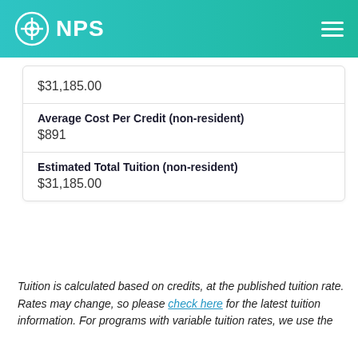NPS
$31,185.00
Average Cost Per Credit (non-resident)
$891
Estimated Total Tuition (non-resident)
$31,185.00
Tuition is calculated based on credits, at the published tuition rate. Rates may change, so please check here for the latest tuition information. For programs with variable tuition rates, we use the